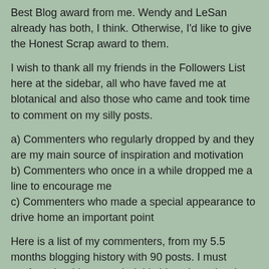Best Blog award from me. Wendy and LeSan already has both, I think. Otherwise, I'd like to give the Honest Scrap award to them.
I wish to thank all my friends in the Followers List here at the sidebar, all who have faved me at blotanical and also those who came and took time to comment on my silly posts.
a) Commenters who regularly dropped by and they are my main source of inspiration and motivation
b) Commenters who once in a while dropped me a line to encourage me
c) Commenters who made a special appearance to drive home an important point
Here is a list of my commenters, from my 5.5 months blogging history with 90 posts. I must confess that I have copied this idea shamelessly from my blotanist friend, Tatyana of My Secret Garden.
[Figure (photo): A photograph showing orange and brown autumnal fruits or flowers, likely decorative gourds or autumn blooms, with a dark background]